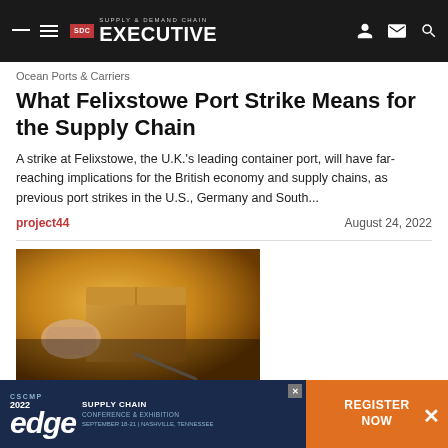Supply & Demand Chain Executive
Ocean Ports & Carriers
What Felixstowe Port Strike Means for the Supply Chain
A strike at Felixstowe, the U.K.'s leading container port, will have far-reaching implications for the British economy and supply chains, as previous port strikes in the U.S., Germany and South...
project44    August 24, 2022
[Figure (photo): Hands handling a cardboard box, warm/golden lighting, logistics/shipping context]
Risk/Compliance
[Figure (infographic): CSCMP 2022 Edge Supply Chain Conference & Exhibition advertisement banner with Register Now button]